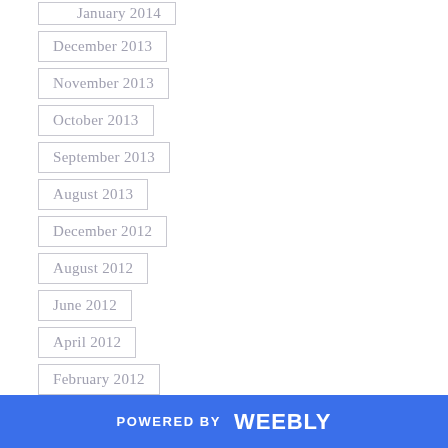January 2014
December 2013
November 2013
October 2013
September 2013
August 2013
December 2012
August 2012
June 2012
April 2012
February 2012
January 2012
December 2011
November 2011
POWERED BY weebly